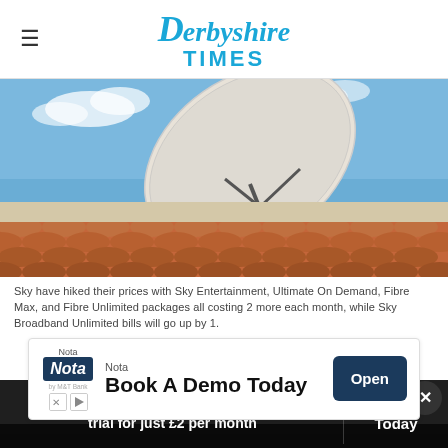Derbyshire Times
[Figure (photo): Large satellite dish mounted on rooftop with terracotta tiles, blue sky background]
Sky have hiked their prices with Sky Entertainment, Ultimate On Demand, Fibre Max, and Fibre Unlimited packages all costing 2 more each month, while Sky Broadband Unlimited bills will go up by 1.
[Figure (other): Advertisement banner: Nota - Book A Demo Today with Open button]
[Figure (photo): Partial second image visible below ad, dark background]
Get 70% fewer ads. Start your 2-month trial for just £2 per month
Subscribe Today